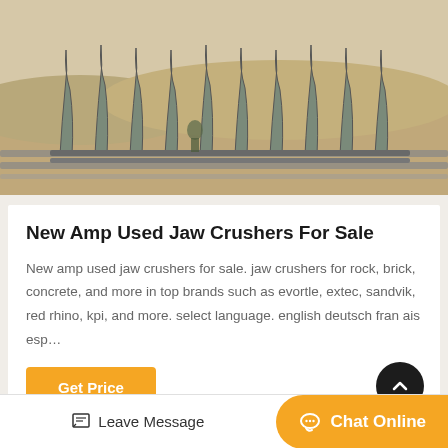[Figure (photo): Aerial or ground-level photo of jaw crusher equipment parts (large metal frames/tines) arranged in rows on a sandy/desert terrain.]
New Amp Used Jaw Crushers For Sale
New amp used jaw crushers for sale. jaw crushers for rock, brick, concrete, and more in top brands such as evortle, extec, sandvik, red rhino, kpi, and more. select language. english deutsch fran ais esp…
[Figure (photo): Partial photo of industrial/outdoor scene with cloudy sky, likely another crusher or equipment image.]
Leave Message   Chat Online